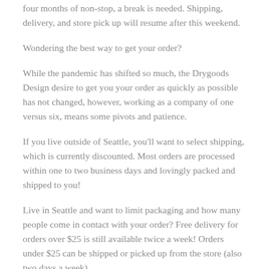four months of non-stop, a break is needed. Shipping, delivery, and store pick up will resume after this weekend.
Wondering the best way to get your order?
While the pandemic has shifted so much, the Drygoods Design desire to get you your order as quickly as possible has not changed, however, working as a company of one versus six, means some pivots and patience.
If you live outside of Seattle, you'll want to select shipping, which is currently discounted. Most orders are processed within one to two business days and lovingly packed and shipped to you!
Live in Seattle and want to limit packaging and how many people come in contact with your order? Free delivery for orders over $25 is still available twice a week! Orders under $25 can be shipped or picked up from the store (also two days a week).